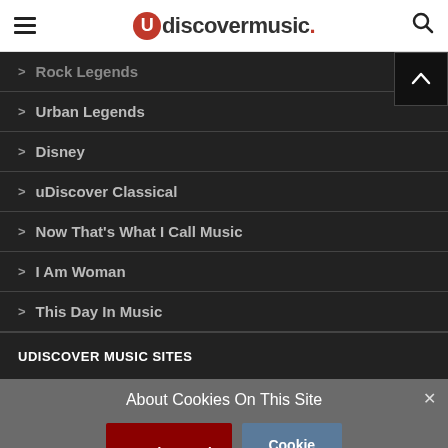uDiscover Music
> Rock Legends
> Urban Legends
> Disney
> uDiscover Classical
> Now That's What I Call Music
> I Am Woman
> This Day In Music
UDISCOVER MUSIC SITES
About Cookies On This Site
I Understand | Cookie Choices